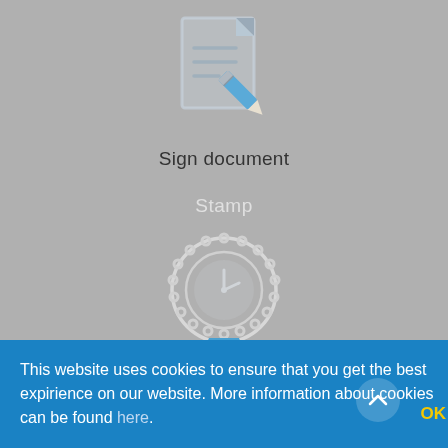[Figure (illustration): Document with pencil icon (sign document) in light blue/white on grey background]
Sign document
Stamp
[Figure (illustration): Stamp/seal with clock face icon and blue ribbon, white outline on grey background]
Timestamp and verify timestamp
This website uses cookies to ensure that you get the best expirience on our website. More information about cookies can be found here.
OK